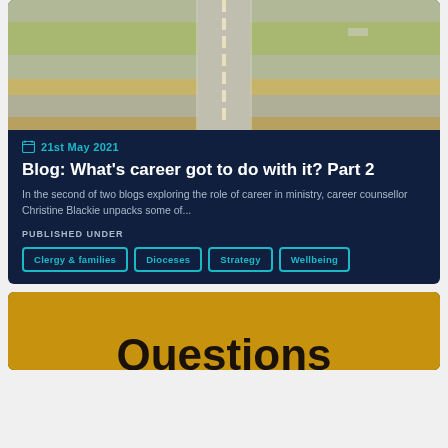[Figure (photo): Aerial view of a road/highway intersection with surrounding landscape]
21st May 2021
Blog: What's career got to do with it? Part 2
In the second of two blogs exploring the role of career in ministry, career counsellor Christine Blackie unpacks some of...
PUBLISHED UNDER
Clergy & families
Dioceses
Strategy
Wellbeing
[Figure (photo): Yellow sign with the word 'Questions' in bold black text]